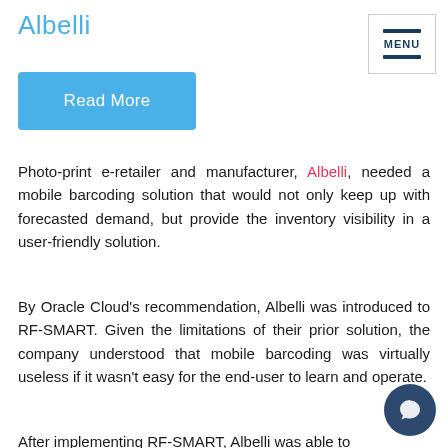Albelli
[Figure (other): Menu button with hamburger icon and MENU label]
[Figure (other): Blue Read More button]
Photo-print e-retailer and manufacturer, Albelli, needed a mobile barcoding solution that would not only keep up with forecasted demand, but provide the inventory visibility in a user-friendly solution.
By Oracle Cloud's recommendation, Albelli was introduced to RF-SMART. Given the limitations of their prior solution, the company understood that mobile barcoding was virtually useless if it wasn't easy for the end-user to learn and operate.
After implementing RF-SMART, Albelli was able to
[Figure (other): Chat bubble icon in dark blue circle at bottom right]